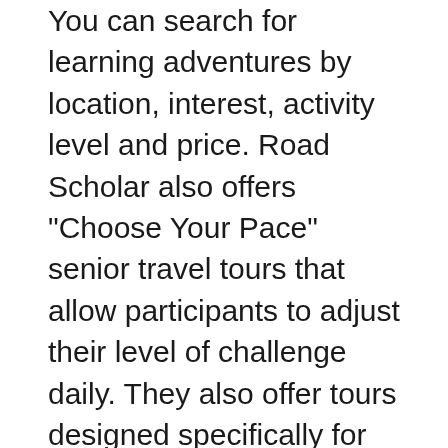You can search for learning adventures by location, interest, activity level and price. Road Scholar also offers "Choose Your Pace" senior travel tours that allow participants to adjust their level of challenge daily. They also offer tours designed specifically for grandparents traveling with their grandkids.
Another excellent option is Smithsonian Journeys, a nonprofit travel group affiliated with the Smithsonian Museum. They lead 350 educational trips a year on every continent that are led by experts